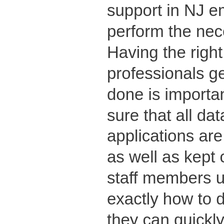support in NJ employed to perform the necessary tasks. Having the right professionals get the job done is important to making sure that all data and also applications are safeguarded as well as kept correctly. If staff members understand exactly how to do the jobs, they can quickly identify issues as well as fix them in a timely fashion. If the issues can not be recognized